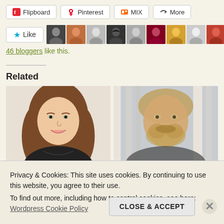[Figure (screenshot): Social sharing buttons: Flipboard, Pinterest, MIX, More]
[Figure (screenshot): Like button with 10 blogger avatar thumbnails]
46 bloggers like this.
Related
[Figure (photo): Photo of a young woman with long brown wavy hair, smiling]
[Figure (photo): Blurry photo of a bearded man in front of bookshelves]
Privacy & Cookies: This site uses cookies. By continuing to use this website, you agree to their use.
To find out more, including how to control cookies, see here:
Wordpress Cookie Policy
CLOSE & ACCEPT